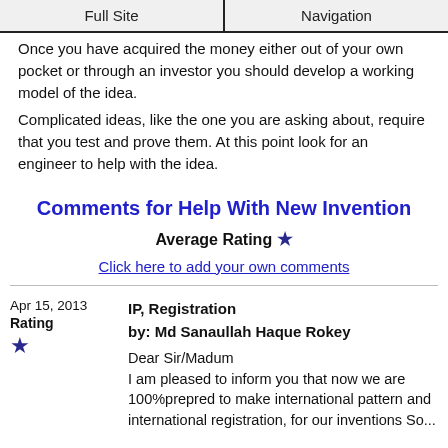Full Site | Navigation
Once you have acquired the money either out of your own pocket or through an investor you should develop a working model of the idea.
Complicated ideas, like the one you are asking about, require that you test and prove them. At this point look for an engineer to help with the idea.
Comments for Help With New Invention
Average Rating ★
Click here to add your own comments
Apr 15, 2013
Rating
★
IP, Registration
by: Md Sanaullah Haque Rokey

Dear Sir/Madum
I am pleased to inform you that now we are 100%prepred to make international pattern and international registration, for our inventions So...